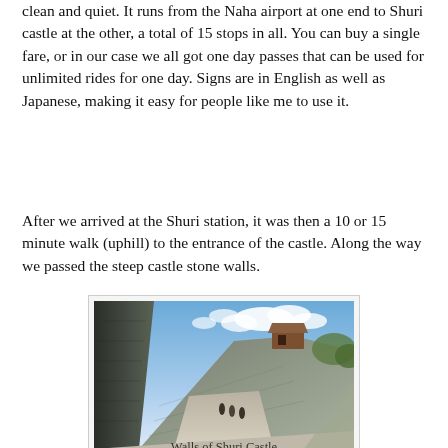clean and quiet.  It runs from the Naha airport at one end to Shuri castle at the other, a total of 15 stops in all.  You can buy a single fare, or in our case we all got one day passes that can be used for unlimited rides for one day.  Signs are in English as well as Japanese, making it easy for people like me to use it.
After we arrived at the Shuri station, it was then a 10 or 15 minute walk (uphill) to the entrance of the castle.  Along the way we passed the steep castle stone walls.
[Figure (photo): Photograph of the steep stone walls of Shuri Castle, showing a massive dark stone wall on the left side, a pathway leading uphill, the castle gate structure visible in the upper right area, and a partly cloudy blue sky in the background.]
Walls of Shuri Castle